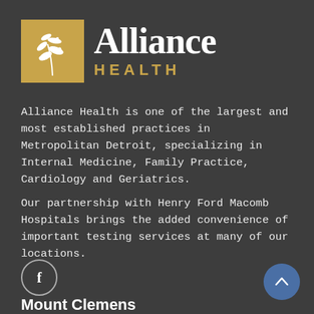[Figure (logo): Alliance Health logo: gold square with white leaf/plant icon on left, 'Alliance' in large white serif font and 'HEALTH' in gold bold uppercase letters on right]
Alliance Health is one of the largest and most established practices in Metropolitan Detroit, specializing in Internal Medicine, Family Practice, Cardiology and Geriatrics.
Our partnership with Henry Ford Macomb Hospitals brings the added convenience of important testing services at many of our locations.
[Figure (other): Facebook icon: circle outline with letter f inside]
[Figure (other): Scroll-to-top button: blue circle with white upward chevron arrow]
Mount Clemens